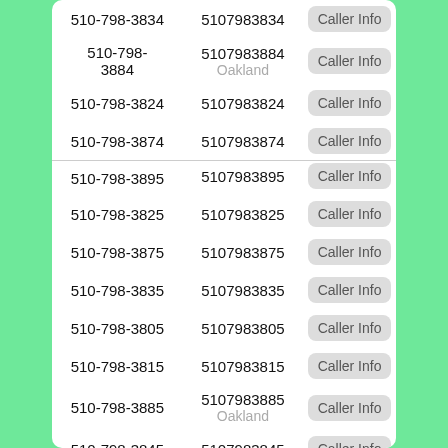| Formatted | Plain | Action |
| --- | --- | --- |
| 510-798-3834 | 5107983834 | Caller Info |
| 510-798-3884 | 5107983884
Oakland | Caller Info |
| 510-798-3824 | 5107983824 | Caller Info |
| 510-798-3874 | 5107983874 | Caller Info |
| 510-798-3895 | 5107983895 | Caller Info |
| 510-798-3825 | 5107983825 | Caller Info |
| 510-798-3875 | 5107983875 | Caller Info |
| 510-798-3835 | 5107983835 | Caller Info |
| 510-798-3805 | 5107983805 | Caller Info |
| 510-798-3815 | 5107983815 | Caller Info |
| 510-798-3885 | 5107983885
Oakland | Caller Info |
| 510-798-3845 | 5107983845 | Caller Info |
| 510-798-3865 | 5107983865 | Caller Info |